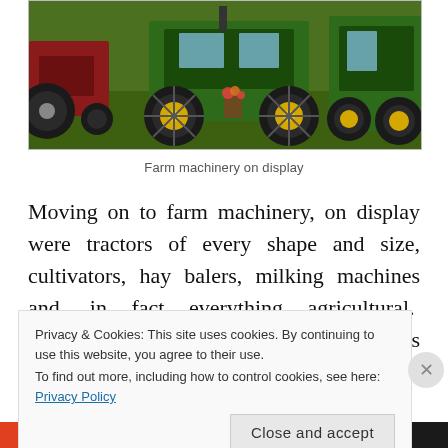[Figure (photo): Photograph of farm machinery (tractors with John Deere green and yellow coloring) on display on grass]
Farm machinery on display
Moving on to farm machinery, on display were tractors of every shape and size, cultivators, hay balers, milking machines and, in fact everything agricultural. Normally you can climb on board the cabs which must be every young child's dream but
Privacy & Cookies: This site uses cookies. By continuing to use this website, you agree to their use.
To find out more, including how to control cookies, see here: Privacy Policy
Close and accept